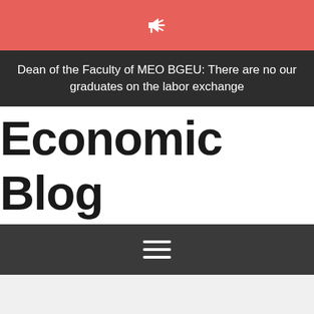[Figure (other): Megaphone icon on salmon/coral colored notification bar]
Dean of the Faculty of MEO BGEU: There are no our graduates on the labor exchange
Economic Blog
[Figure (other): Hamburger menu icon (three horizontal white lines) on dark gray navigation bar]